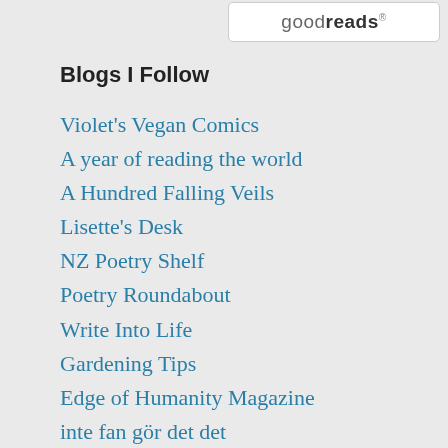[Figure (logo): Goodreads logo in a rounded rectangle widget]
Blogs I Follow
Violet's Vegan Comics
A year of reading the world
A Hundred Falling Veils
Lisette's Desk
NZ Poetry Shelf
Poetry Roundabout
Write Into Life
Gardening Tips
Edge of Humanity Magazine
inte fan gör det det
Fluffy George